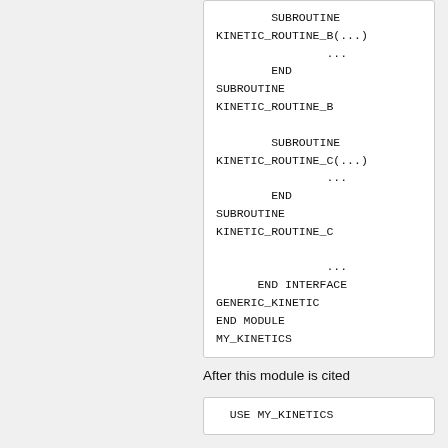[Figure (screenshot): Code box showing Fortran subroutine definitions: SUBROUTINE KINETIC_ROUTINE_B(...), ..., END SUBROUTINE KINETIC_ROUTINE_B, SUBROUTINE KINETIC_ROUTINE_C(...), ..., END SUBROUTINE KINETIC_ROUTINE_C, ..., END INTERFACE GENERIC_KINETIC, END MODULE MY_KINETICS]
After this module is cited
[Figure (screenshot): Code box showing: USE MY_KINETICS]